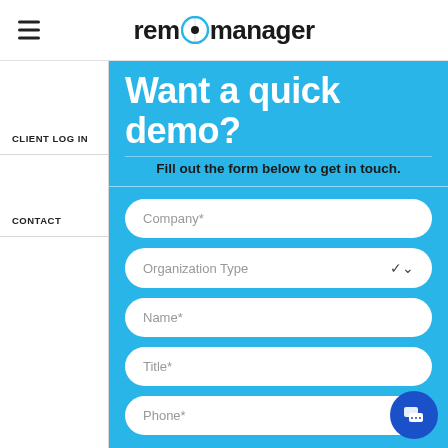remo manager
CLIENT LOG IN
Want a quick demo?
Fill out the form below to get in touch.
CONTACT
Company*
Organization Type
Name*
Title*
Phone*